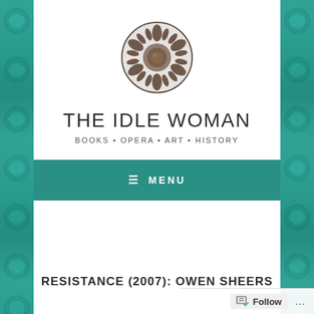[Figure (logo): Circular ornate filigree metallic emblem/brooch logo for The Idle Woman blog]
THE IDLE WOMAN
BOOKS • OPERA • ART • HISTORY
≡  MENU
RESISTANCE (2007): OWEN SHEERS
Follow  ...